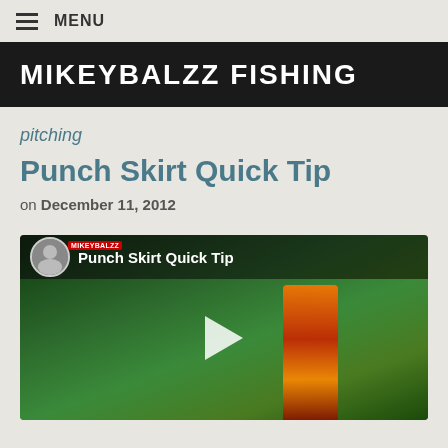MENU
MIKEYBALZZ FISHING
pitching
Punch Skirt Quick Tip
on December 11, 2012
[Figure (screenshot): YouTube video thumbnail for 'Punch Skirt Quick Tip' by Mikeybalzz fishing channel, showing a play button overlay on an outdoor/garden background with green foliage and orange fishing lure element]